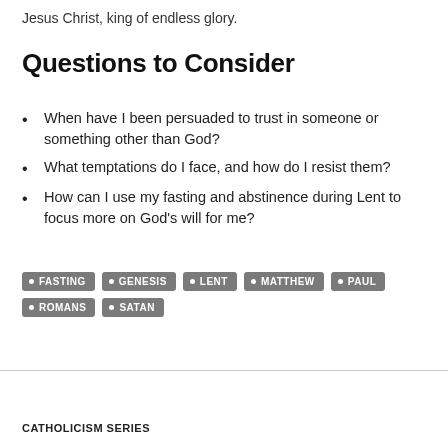Jesus Christ, king of endless glory.
Questions to Consider
When have I been persuaded to trust in someone or something other than God?
What temptations do I face, and how do I resist them?
How can I use my fasting and abstinence during Lent to focus more on God's will for me?
FASTING • GENESIS • LENT • MATTHEW • PAUL • ROMANS • SATAN
CATHOLICISM SERIES